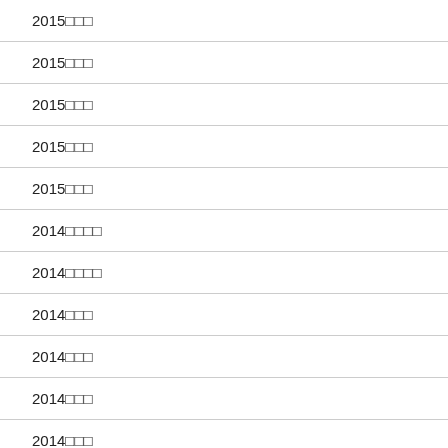2015年年年
2015年年年
2015年年年
2015年年年
2015年年年
2014年年年年
2014年年年年
2014年年年
2014年年年
2014年年年
2014年年年